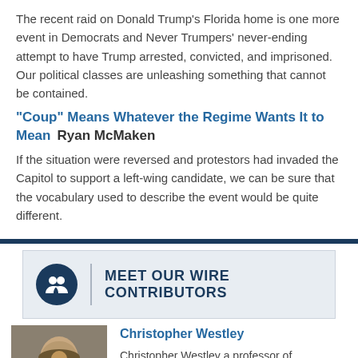The recent raid on Donald Trump's Florida home is one more event in Democrats and Never Trumpers' never-ending attempt to have Trump arrested, convicted, and imprisoned. Our political classes are unleashing something that cannot be contained.
"Coup" Means Whatever the Regime Wants It to Mean   Ryan McMaken
If the situation were reversed and protestors had invaded the Capitol to support a left-wing candidate, we can be sure that the vocabulary used to describe the event would be quite different.
MEET OUR WIRE CONTRIBUTORS
Christopher Westley
Christopher Westley a professor of economics in the Lutgert College